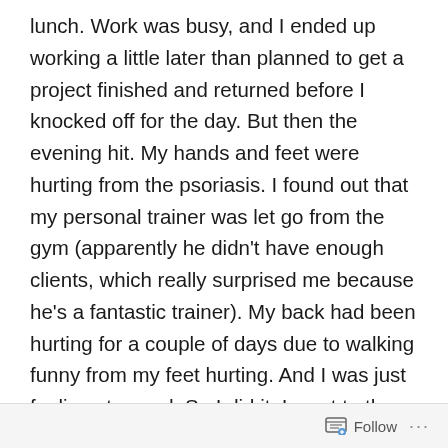lunch. Work was busy, and I ended up working a little later than planned to get a project finished and returned before I knocked off for the day. But then the evening hit. My hands and feet were hurting from the psoriasis. I found out that my personal trainer was let go from the gym (apparently he didn't have enough clients, which really surprised me because he's a fantastic trainer). My back had been hurting for a couple of days due to walking funny from my feet hurting. And I was just feeling stressed. So I did it. I went to the forbidden cabinet—the one that has stuff in it that I'm not supposed to be eating during this challenge . . . along with some stuff that I shouldn't be eating at all. Like toaster pastries. Like frosted cherry toaster pastries. A brand new box of frosted cherry toaster pastries that hadn't been opened, which was why I didn't
Follow ···